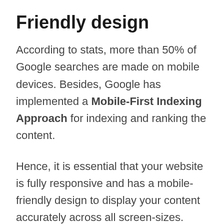Friendly design
According to stats, more than 50% of Google searches are made on mobile devices. Besides, Google has implemented a Mobile-First Indexing Approach for indexing and ranking the content.
Hence, it is essential that your website is fully responsive and has a mobile-friendly design to display your content accurately across all screen-sizes.
Ridhi Pro is a fully responsive and mobile-friendly theme. It passes the Google mobile-